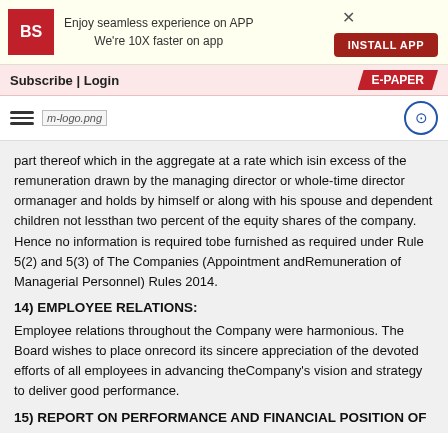[Figure (other): Business Standard app advertisement banner with BS logo, text 'Enjoy seamless experience on APP We're 10X faster on app', INSTALL APP button, and close X]
Subscribe | Login   E-PAPER
[Figure (logo): Hamburger menu icon, m-logo.png image placeholder, and share/add icon button]
part thereof which in the aggregate at a rate which isin excess of the remuneration drawn by the managing director or whole-time director ormanager and holds by himself or along with his spouse and dependent children not lessthan two percent of the equity shares of the company. Hence no information is required tobe furnished as required under Rule 5(2) and 5(3) of The Companies (Appointment andRemuneration of Managerial Personnel) Rules 2014.
14) EMPLOYEE RELATIONS:
Employee relations throughout the Company were harmonious. The Board wishes to place onrecord its sincere appreciation of the devoted efforts of all employees in advancing theCompany's vision and strategy to deliver good performance.
15) REPORT ON PERFORMANCE AND FINANCIAL POSITION OF